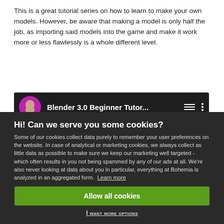This is a great tutorial series on how to learn to make your own models. However, be aware that making a model is only half the job, as importing said models into the game and make it work more or less flawlessly is a whole different level.
[Figure (screenshot): YouTube video thumbnail strip showing 'Blender 3.0 Beginner Tutor...' with a circular avatar of a man with a dark background and purple/magenta accent.]
Hi! Can we serve you some cookies?
Some of our cookies collect data purely to remember your user preferences on the website. In case of analytical or marketing cookies, we always collect as little data as possible to make sure we keep our marketing well targeted - which often results in you not being spammed by any of our ads at all. We're also never looking at data about you in particular, everything at Bohemia is analyzed in an aggregated form. Learn more
Allow all cookies
I want more options